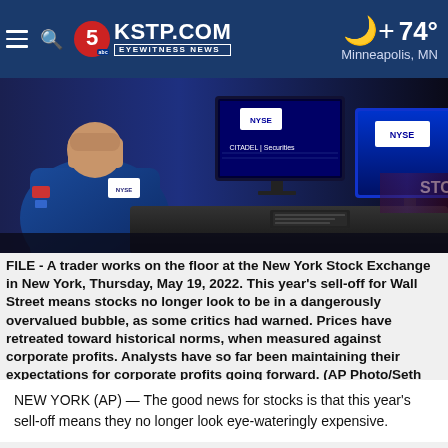KSTP.COM EYEWITNESS NEWS — 74° Minneapolis, MN
[Figure (photo): A trader works on the floor at the New York Stock Exchange, with multiple monitors displaying NYSE and Citadel Securities screens, partially cut off on right edge showing the word STOCK.]
FILE - A trader works on the floor at the New York Stock Exchange in New York, Thursday, May 19, 2022. This year's sell-off for Wall Street means stocks no longer look to be in a dangerously overvalued bubble, as some critics had warned. Prices have retreated toward historical norms, when measured against corporate profits. Analysts have so far been maintaining their expectations for corporate profits going forward. (AP Photo/Seth Wenig, File)[ASSOCIATED PRESS/Seth Wenig]
NEW YORK (AP) — The good news for stocks is that this year's sell-off means they no longer look eye-wateringly expensive.